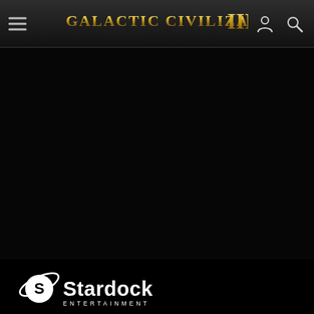Galactic Civilizations III — navigation bar with hamburger menu, title logo, user and search icons
[Figure (screenshot): Large black/dark content area below the navigation bar, filling most of the page]
[Figure (logo): Stardock Entertainment logo — stylized S planet icon with 'Stardock' text and 'ENTERTAINMENT' subtitle in white on black background]